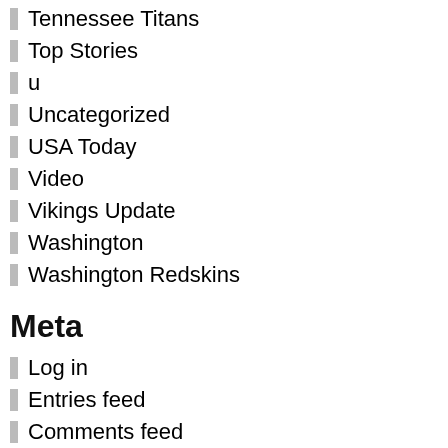Tennessee Titans
Top Stories
u
Uncategorized
USA Today
Video
Vikings Update
Washington
Washington Redskins
Meta
Log in
Entries feed
Comments feed
WordPress.org
[Figure (illustration): 1500 espn twin cities vikings sportswire image placeholder]
[Figure (illustration): kfan sports radio - official vikings station image placeholder]
[Figure (illustration): minnesota vikings web site image placeholder]
ocastyourvoteforwhatyouth